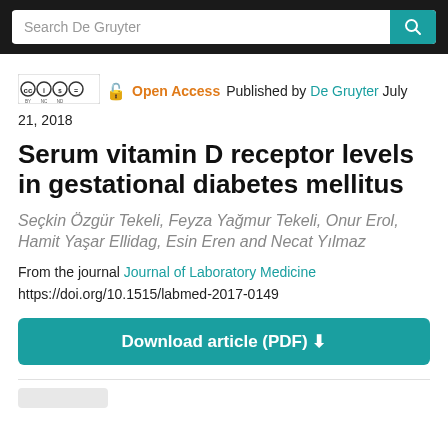Search De Gruyter
Open Access  Published by De Gruyter July 21, 2018
Serum vitamin D receptor levels in gestational diabetes mellitus
Seçkin Özgür Tekeli, Feyza Yağmur Tekeli, Onur Erol, Hamit Yaşar Ellidag, Esin Eren and Necat Yılmaz
From the journal Journal of Laboratory Medicine
https://doi.org/10.1515/labmed-2017-0149
Download article (PDF)